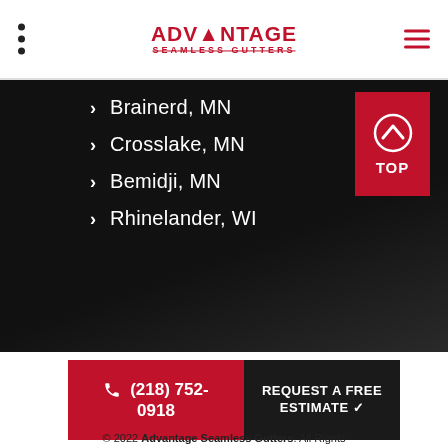ADVANTAGE SEAMLESS GUTTERS
Brainerd, MN
Crosslake, MN
Bemidji, MN
Rhinelander, WI
TOP
(218) 752-0918
REQUEST A FREE ESTIMATE
© 2022 Advantage Seamless Gutters. All Rights